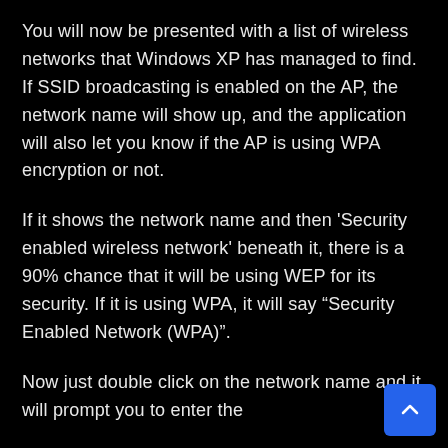You will now be presented with a list of wireless networks that Windows XP has managed to find. If SSID broadcasting is enabled on the AP, the network name will show up, and the application will also let you know if the AP is using WPA encryption or not.
If it shows the network name and then 'Security enabled wireless network' beneath it, there is a 90% chance that it will be using WEP for its security. If it is using WPA, it will say “Security Enabled Network (WPA)”.
Now just double click on the network name and it will prompt you to enter the